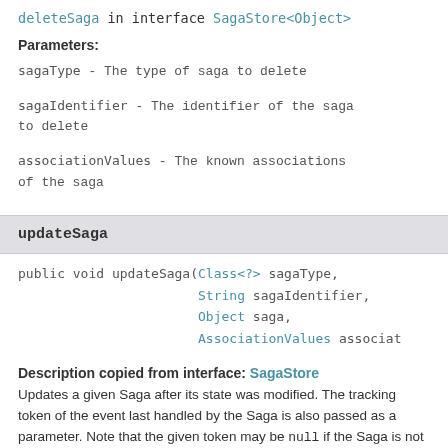deleteSaga in interface SagaStore<Object>
Parameters:
sagaType - The type of saga to delete
sagaIdentifier - The identifier of the saga to delete
associationValues - The known associations of the saga
updateSaga
public void updateSaga(Class<?> sagaType,
                       String sagaIdentifier,
                       Object saga,
                       AssociationValues associat
Description copied from interface: SagaStore
Updates a given Saga after its state was modified. The tracking token of the event last handled by the Saga is also passed as a parameter. Note that the given token may be null if the Saga is not